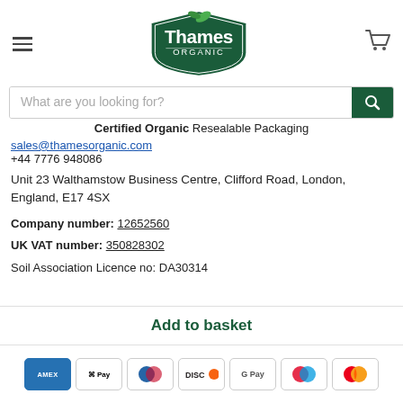Thames Organic - navigation header with hamburger menu and cart
[Figure (logo): Thames Organic logo: green shield with white text 'Thames ORGANIC' and leaf]
What are you looking for? [search bar]
Certified Organic Resealable Packaging
sales@thamesorganic.com
+44 7776 948086
Unit 23 Walthamstow Business Centre, Clifford Road, London, England, E17 4SX
Company number: 12652560
UK VAT number: 350828302
Soil Association Licence no: DA30314
Add to basket
[Figure (other): Payment method icons: AMEX, Apple Pay, Diners Club, Discover, Google Pay, Maestro, Mastercard]